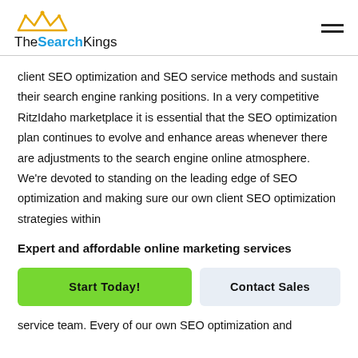TheSearchKings
client SEO optimization and SEO service methods and sustain their search engine ranking positions. In a very competitive RitzIdaho marketplace it is essential that the SEO optimization plan continues to evolve and enhance areas whenever there are adjustments to the search engine online atmosphere. We’re devoted to standing on the leading edge of SEO optimization and making sure our own client SEO optimization strategies within
Expert and affordable online marketing services
Start Today!
Contact Sales
service team. Every of our own SEO optimization and